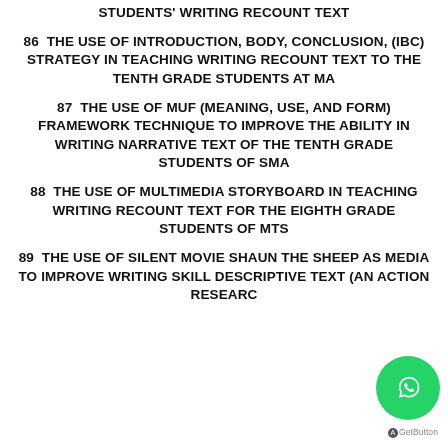STUDENTS' WRITING RECOUNT TEXT
86  THE USE OF INTRODUCTION, BODY, CONCLUSION, (IBC) STRATEGY IN TEACHING WRITING RECOUNT TEXT TO THE TENTH GRADE STUDENTS AT MA
87  THE USE OF MUF (MEANING, USE, AND FORM) FRAMEWORK TECHNIQUE TO IMPROVE THE ABILITY IN WRITING NARRATIVE TEXT OF THE TENTH GRADE STUDENTS OF SMA
88  THE USE OF MULTIMEDIA STORYBOARD IN TEACHING WRITING RECOUNT TEXT FOR THE EIGHTH GRADE STUDENTS OF MTS
89  THE USE OF SILENT MOVIE SHAUN THE SHEEP AS MEDIA TO IMPROVE WRITING SKILL DESCRIPTIVE TEXT (AN ACTION RESEARCH